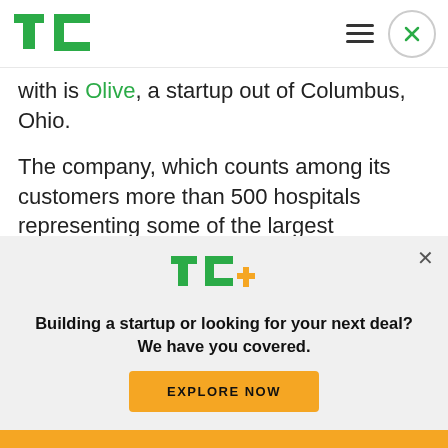TechCrunch header with logo, hamburger menu, and close button
with is Olive, a startup out of Columbus, Ohio.
The company, which counts among its customers more than 500 hospitals representing some of the largest healthcare providers in the U.S., has raised a new round of $51 million as it sees significant growth for its business.
[Figure (logo): TechCrunch TC+ logo in green and yellow]
Building a startup or looking for your next deal? We have you covered.
EXPLORE NOW